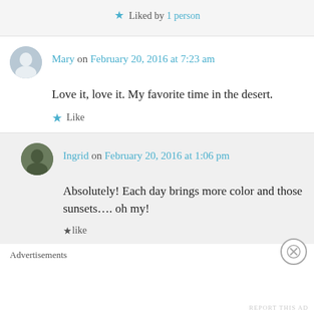Liked by 1 person
Mary on February 20, 2016 at 7:23 am
Love it, love it. My favorite time in the desert.
Like
Ingrid on February 20, 2016 at 1:06 pm
Absolutely! Each day brings more color and those sunsets…. oh my!
like
Advertisements